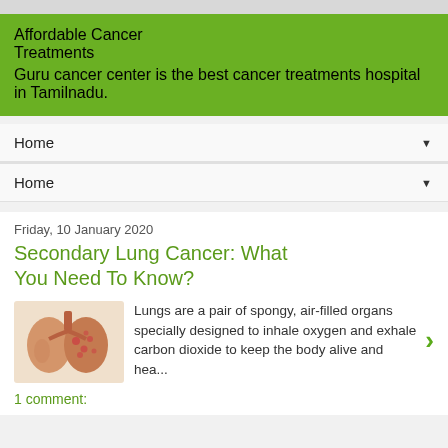Affordable Cancer Treatments
Guru cancer center is the best cancer treatments hospital in Tamilnadu.
Home ▼
Home ▼
Friday, 10 January 2020
Secondary Lung Cancer: What You Need To Know?
[Figure (illustration): Illustration of human lungs showing secondary lung cancer]
Lungs are a pair of spongy, air-filled organs specially designed to inhale oxygen and exhale carbon dioxide to keep the body alive and hea...
1 comment: